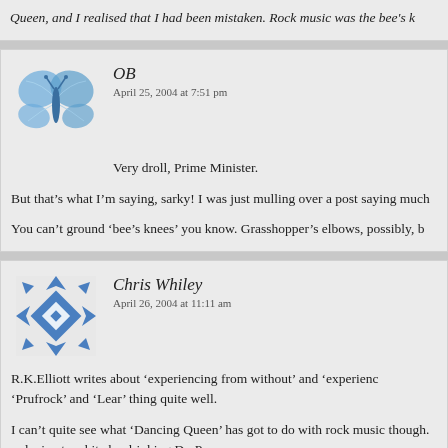Queen, and I realised that I had been mistaken. Rock music was the bee's k
OB
April 25, 2004 at 7:51 pm
Very droll, Prime Minister.
But that's what I'm saying, sarky! I was just mulling over a post saying much
You can't ground 'bee's knees' you know. Grasshopper's elbows, possibly, b
Chris Whiley
April 26, 2004 at 11:11 am
R.K.Elliott writes about 'experiencing from without' and 'experienc 'Prufrock' and 'Lear' thing quite well.
I can't quite see what 'Dancing Queen' has got to do with rock music though. red wine to white by drinking Dr. Pepper.